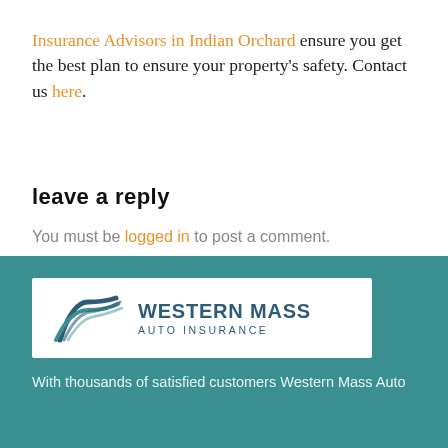Insurance Advisors in Indian Orchard ensure you get the best plan to ensure your property's safety. Contact us here.
leave a reply
You must be logged in to post a comment.
[Figure (logo): Western Mass Auto Insurance logo — stylized road/highway icon in teal/dark blue on left, with bold text 'WESTERN MASS' and smaller spaced text 'AUTO INSURANCE' in dark blue on white background]
With thousands of satisfied customers Western Mass Auto